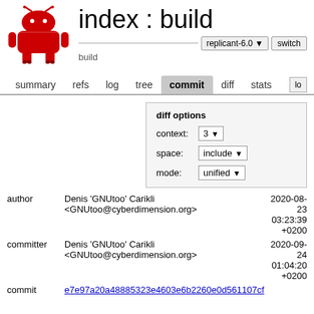index : build
build
summary  refs  log  tree  commit  diff  stats  lo
diff options
context: 3
space: include
mode: unified
author
Denis 'GNUtoo' Carikli <GNUtoo@cyberdimension.org>
2020-08-23 03:23:39 +0200
committer
Denis 'GNUtoo' Carikli <GNUtoo@cyberdimension.org>
2020-09-24 01:04:20 +0200
commit  e7e97a20a48885323e4603e6b2260e0d561107cf